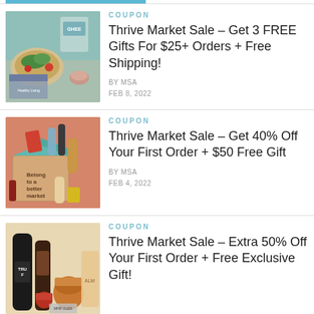[Figure (photo): Top bar/header blue element, partially visible]
[Figure (photo): Food photo with salad, ghee product, Healthy Living magazine cover]
COUPON
Thrive Market Sale – Get 3 FREE Gifts For $25+ Orders + Free Shipping!
BY MSA
FEB 8, 2022
[Figure (photo): Thrive Market box with products, 'Belong to a better market' text]
COUPON
Thrive Market Sale – Get 40% Off Your First Order + $50 Free Gift
BY MSA
FEB 4, 2022
[Figure (photo): Condiment bottles including TRUF brand and other sauces on light background]
COUPON
Thrive Market Sale – Extra 50% Off Your First Order + Free Exclusive Gift!